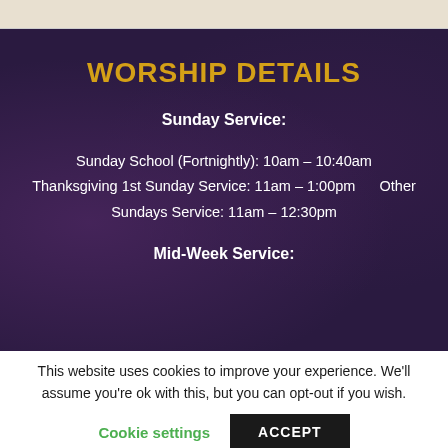WORSHIP DETAILS
Sunday Service:
Sunday School (Fortnightly): 10am – 10:40am
Thanksgiving 1st Sunday Service: 11am – 1:00pm    Other Sundays Service: 11am – 12:30pm
Mid-Week Service:
This website uses cookies to improve your experience. We'll assume you're ok with this, but you can opt-out if you wish.
Cookie settings   ACCEPT